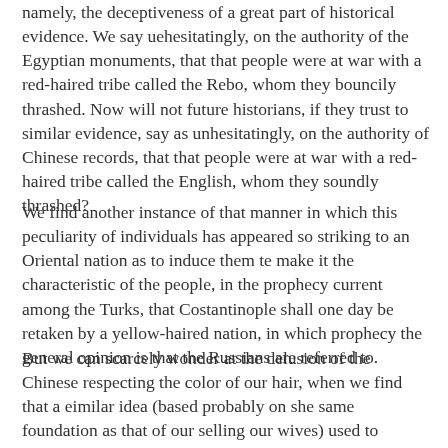namely, the deceptiveness of a great part of historical evidence. We say uehesitatingly, on the authority of the Egyptian monuments, that that people were at war with a red-haired tribe called the Rebo, whom they bouncily thrashed. Now will not future historians, if they trust to similar evidence, say as unhesitatingly, on the authority of Chinese records, that that people were at war with a red-haired tribe called the English, whom they soundly thrashed?
We find another instance of that manner in which this peculiarity of individuals has appeared so striking to an Oriental nation as to induce them te make it the characteristic of the people, in the prophecy current among the Turks, that Costantinople shall one day be retaken by a yellow-haired nation, in which prophecy the general opinion is that the Russians are referred to.
But we can scarcely wonder at the delusion of the Chinese respecting the color of our hair, when we find that a eimilar idea (based probably on she same foundation as that of our selling our wives) used to prevail very generally among our well-informed neighbors across the Channel. I believe, however, that this idea was in a former age held to